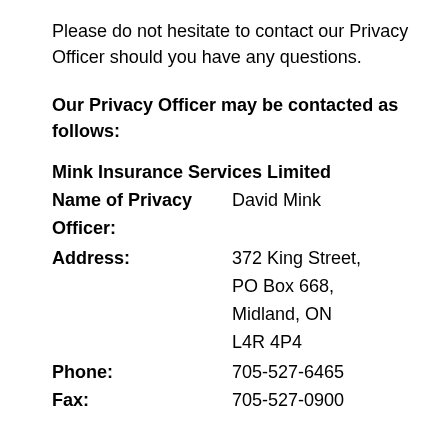Please do not hesitate to contact our Privacy Officer should you have any questions.
Our Privacy Officer may be contacted as follows:
Mink Insurance Services Limited
Name of Privacy Officer: David Mink
Address: 372 King Street, PO Box 668, Midland, ON L4R 4P4
Phone: 705-527-6465
Fax: 705-527-0900